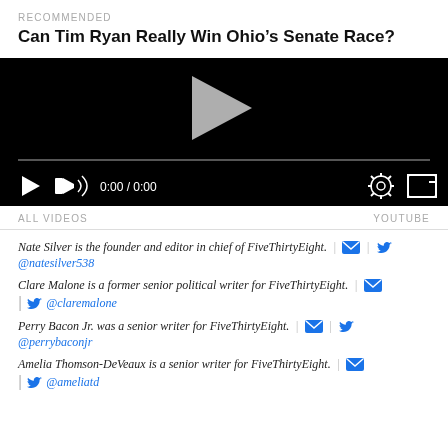RECOMMENDED
Can Tim Ryan Really Win Ohio’s Senate Race?
[Figure (screenshot): Embedded video player with black background, play button triangle, progress bar, and controls showing 0:00 / 0:00 with settings and fullscreen icons]
ALL VIDEOS   YOUTUBE
Nate Silver is the founder and editor in chief of FiveThirtyEight. @natesilver538
Clare Malone is a former senior political writer for FiveThirtyEight. @claremalone
Perry Bacon Jr. was a senior writer for FiveThirtyEight. @perrybaconjr
Amelia Thomson-DeVeaux is a senior writer for FiveThirtyEight. @ameliatd